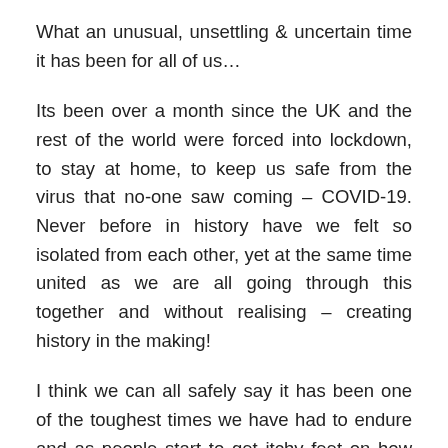What an unusual, unsettling & uncertain time it has been for all of us…
Its been over a month since the UK and the rest of the world were forced into lockdown, to stay at home, to keep us safe from the virus that no-one saw coming – COVID-19. Never before in history have we felt so isolated from each other, yet at the same time united as we are all going through this together and without realising – creating history in the making!
I think we can all safely say it has been one of the toughest times we have had to endure and as people start to get itchy feet on how long this will go on for, I've surprised myself by actually becoming more relaxed the longer I'm in lockdown & are now fully settled into isolation life. I decided to write a blog to